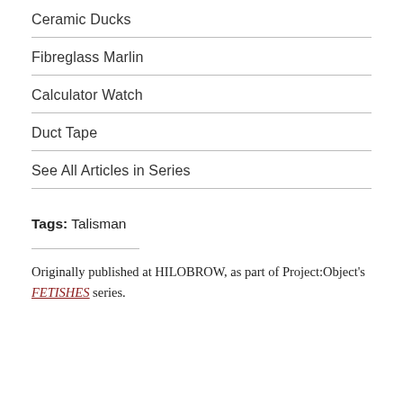Ceramic Ducks
Fibreglass Marlin
Calculator Watch
Duct Tape
See All Articles in Series
Tags: Talisman
Originally published at HILOBROW, as part of Project:Object's FETISHES series.